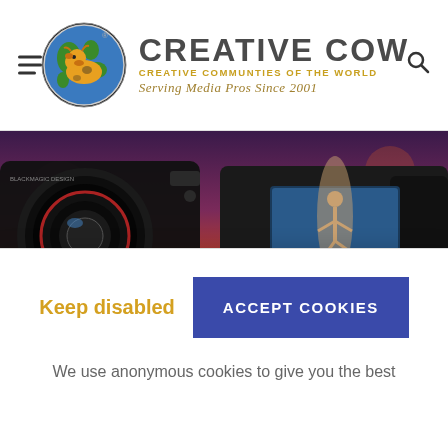Creative Cow — Creative Communities of the World, Serving Media Pros Since 2001
[Figure (photo): Advertisement banner showing a Blackmagic Pocket Cinema Camera 6K against a blurred city sunset background. Text overlay reads NEW (in blue) and Pocket Cinema (in white bold).]
Keep disabled
ACCEPT COOKIES
We use anonymous cookies to give you the best